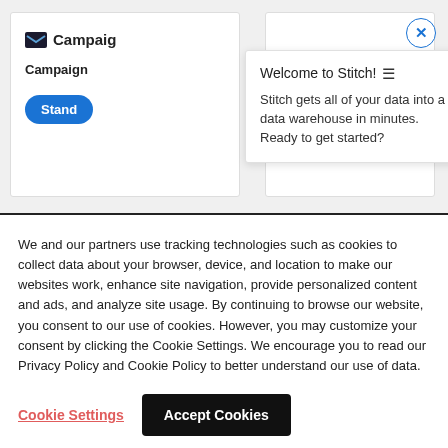[Figure (screenshot): Screenshot of a website with Campaign Monitor card on the left showing logo text and a 'Stand' button, a partial right card, a Stitch welcome tooltip overlay, and a cookie consent banner at the bottom.]
Welcome to Stitch! ≡
Stitch gets all of your data into a data warehouse in minutes. Ready to get started?
We and our partners use tracking technologies such as cookies to collect data about your browser, device, and location to make our websites work, enhance site navigation, provide personalized content and ads, and analyze site usage. By continuing to browse our website, you consent to our use of cookies. However, you may customize your consent by clicking the Cookie Settings. We encourage you to read our Privacy Policy and Cookie Policy to better understand our use of data.
Cookie Settings
Accept Cookies